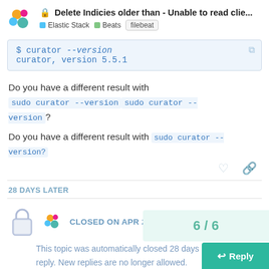Delete Indicies older than - Unable to read clie...
Elastic Stack  Beats  filebeat
$ curator --version
curator, version 5.5.1
Do you have a different result with sudo curator --version?
28 DAYS LATER
CLOSED ON APR 27, '18
This topic was automatically closed 28 days after the last reply. New replies are no longer allowed.
6 / 6